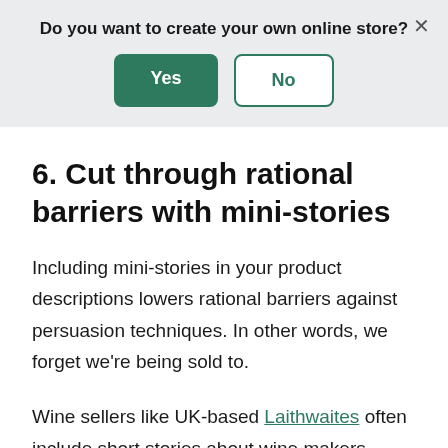Do you want to create your own online store?
[Figure (other): Dialog banner with Yes and No buttons and a close (×) button]
6. Cut through rational barriers with mini-stories
Including mini-stories in your product descriptions lowers rational barriers against persuasion techniques. In other words, we forget we're being sold to.
Wine sellers like UK-based Laithwaites often include short stories about wine makers.